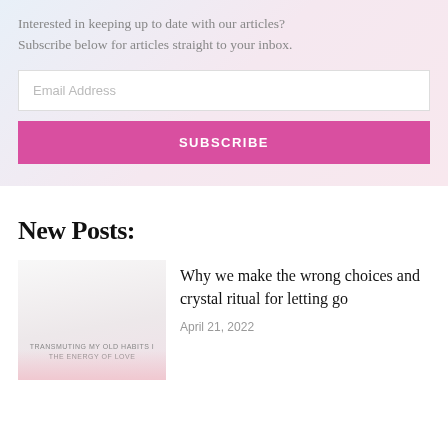Interested in keeping up to date with our articles? Subscribe below for articles straight to your inbox.
[Figure (other): Email address input field placeholder]
[Figure (other): SUBSCRIBE button in pink/magenta color]
New Posts:
[Figure (photo): Thumbnail image with text overlay: TRANSMUTING MY OLD HABITS INTO THE ENERGY OF LOVE]
Why we make the wrong choices and crystal ritual for letting go
April 21, 2022